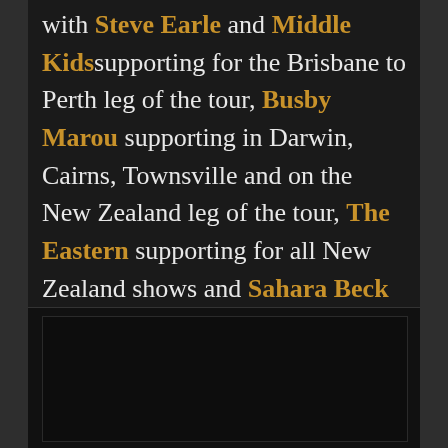with Steve Earle and Middle Kids supporting for the Brisbane to Perth leg of the tour, Busby Marou supporting in Darwin, Cairns, Townsville and on the New Zealand leg of the tour, The Eastern supporting for all New Zealand shows and Sahara Beck as support at the Rockhampton show.
[Figure (photo): Dark rectangular image or video embed placeholder at the bottom of the page]